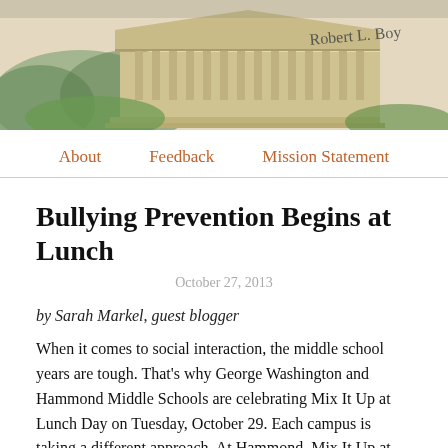[Figure (illustration): Header banner image of a classical building/museum with handwritten signature text 'Robert L. Boy' or similar on the right side, watercolor or sketch style illustration]
About   Feedback   Mission Statement
Bullying Prevention Begins at Lunch
October 27, 2013
by Sarah Markel, guest blogger
When it comes to social interaction, the middle school years are tough. That's why George Washington and Hammond Middle Schools are celebrating Mix It Up at Lunch Day on Tuesday, October 29. Each campus is taking a different approach. At Hammond, Mix It Up at Lunch is a school-wide initiative. GW students must